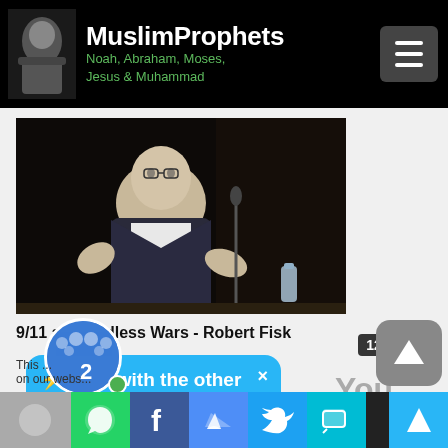MuslimProphets - Noah, Abraham, Moses, Jesus & Muhammad
[Figure (photo): Video thumbnail showing an elderly man speaking at a podium on stage with dark curtains in the background]
9/11 and Endless Wars - Robert Fisk
⚡ Chat with the other visitors now  ×
1114 views · 14 hrs ago | 4 years ago
12:35
2
This ... on our webs...